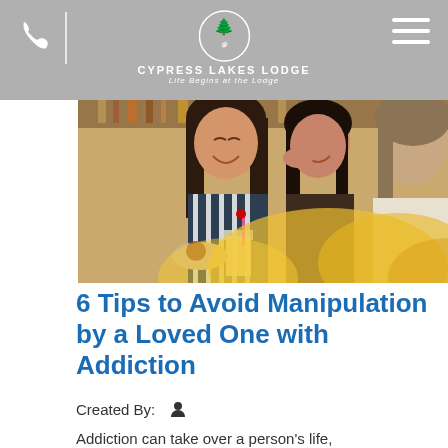CYPRESS LAKES LODGE — Life Begins at the Lodge
[Figure (photo): Three young women laughing and socializing at a restaurant or cafe, with food and drinks on the table. One wears a striped shirt and has long dark hair. The foreground has blurred yellow flowers.]
6 Tips to Avoid Manipulation by a Loved One with Addiction
Created By:
Addiction can take over a person's life,